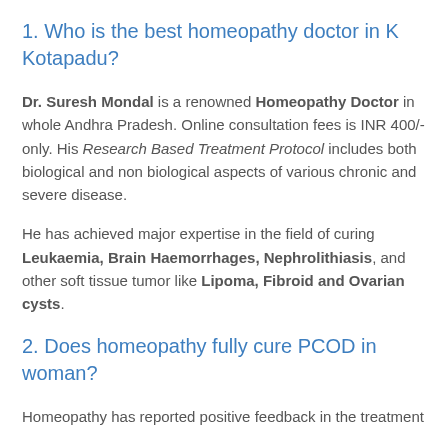1. Who is the best homeopathy doctor in K Kotapadu?
Dr. Suresh Mondal is a renowned Homeopathy Doctor in whole Andhra Pradesh. Online consultation fees is INR 400/- only. His Research Based Treatment Protocol includes both biological and non biological aspects of various chronic and severe disease.
He has achieved major expertise in the field of curing Leukaemia, Brain Haemorrhages, Nephrolithiasis, and other soft tissue tumor like Lipoma, Fibroid and Ovarian cysts.
2. Does homeopathy fully cure PCOD in woman?
Homeopathy has reported positive feedback in the treatment